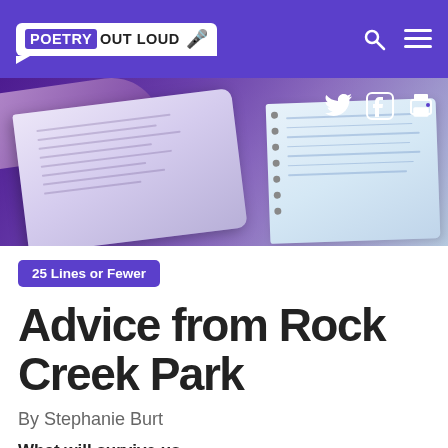POETRY OUT LOUD
[Figure (photo): Hero banner photo of a person's hand holding open a book/notebook with purple-toned lighting and social share icons (Twitter, Facebook, Print) overlaid in top right]
25 Lines or Fewer
Advice from Rock Creek Park
By Stephanie Burt
What will survive us
has already begun